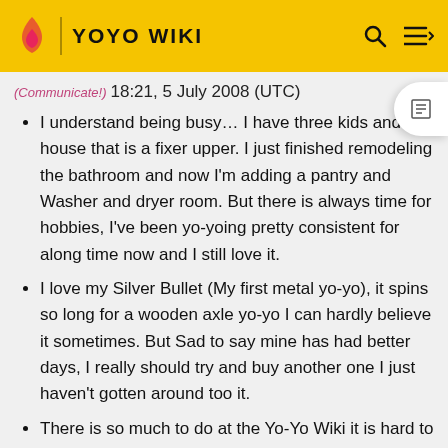YOYO WIKI
(Communicate!) 18:21, 5 July 2008 (UTC)
I understand being busy… I have three kids and a house that is a fixer upper. I just finished remodeling the bathroom and now I'm adding a pantry and Washer and dryer room. But there is always time for hobbies, I've been yo-yoing pretty consistent for along time now and I still love it.
I love my Silver Bullet (My first metal yo-yo), it spins so long for a wooden axle yo-yo I can hardly believe it sometimes. But Sad to say mine has had better days, I really should try and buy another one I just haven't gotten around too it.
There is so much to do at the Yo-Yo Wiki it is hard to